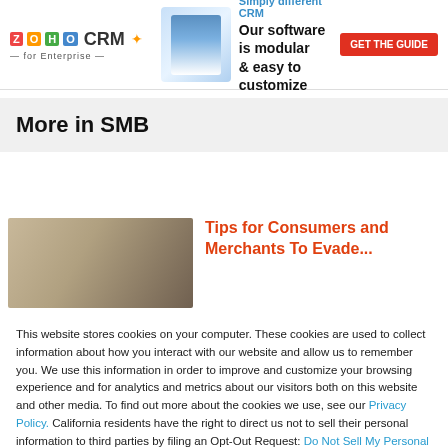[Figure (other): Zoho CRM for Enterprise advertisement banner with logo, product illustration, tagline 'Simply different CRM', text 'Our software is modular & easy to customize', and a red 'GET THE GUIDE' button.]
More in SMB
[Figure (photo): Photo of two people in a kitchen setting, appearing to look at something together.]
Tips for Consumers and Merchants To Evade...
This website stores cookies on your computer. These cookies are used to collect information about how you interact with our website and allow us to remember you. We use this information in order to improve and customize your browsing experience and for analytics and metrics about our visitors both on this website and other media. To find out more about the cookies we use, see our Privacy Policy. California residents have the right to direct us not to sell their personal information to third parties by filing an Opt-Out Request: Do Not Sell My Personal Info.
Accept